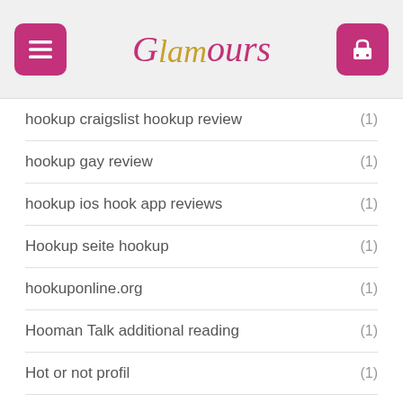Glamours
hookup craigslist hookup review (1)
hookup gay review (1)
hookup ios hook app reviews (1)
Hookup seite hookup (1)
hookuponline.org (1)
Hooman Talk additional reading (1)
Hot or not profil (1)
houston escort (1)
houston hot escort (1)
houston reviews (1)